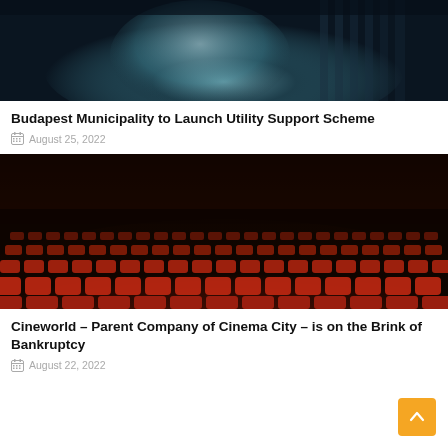[Figure (photo): Close-up photo of a light bulb on a dark background]
Budapest Municipality to Launch Utility Support Scheme
August 25, 2022
[Figure (photo): Cinema auditorium with rows of red seats illuminated with red lighting in a dark theater]
Cineworld – Parent Company of Cinema City – is on the Brink of Bankruptcy
August 22, 2022